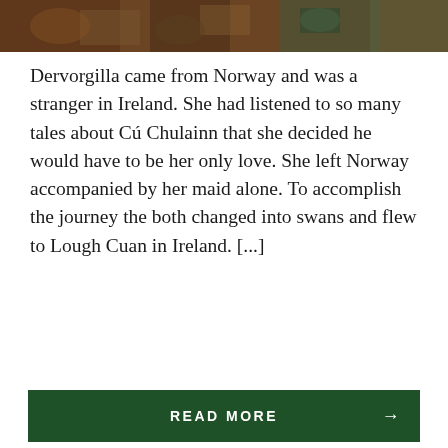[Figure (photo): Partial photo of rocks and stones with reddish-brown and blue-gray tones, cropped at top of page]
Dervorgilla came from Norway and was a stranger in Ireland. She had listened to so many tales about Cú Chulainn that she decided he would have to be her only love. She left Norway accompanied by her maid alone. To accomplish the journey the both changed into swans and flew to Lough Cuan in Ireland. [...]
READ MORE →
SHARE THIS:
Twitter  Facebook  Pinterest  Email  Print
[Figure (infographic): Infolinks advertisement banner and 1-800-flowers.com ad banner with plant image and 'Now in the Plant Shop — Fresh picks for summer' text and 'SEE WHAT'S NEW' button]